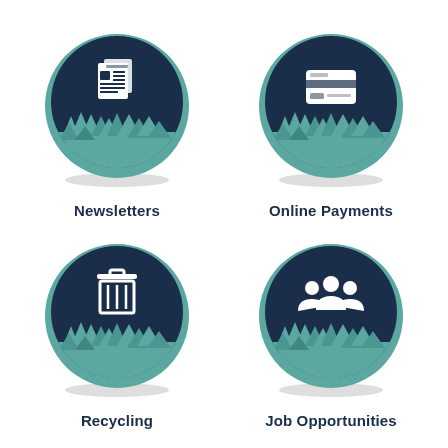[Figure (illustration): Dark navy circle with teal pine tree silhouette border and white newspaper/document icon in center — Newsletters]
Newsletters
[Figure (illustration): Dark navy circle with teal pine tree silhouette border and white credit card icon in center — Online Payments]
Online Payments
[Figure (illustration): Dark navy circle with teal pine tree silhouette border and white trash/recycling bin icon in center — Recycling]
Recycling
[Figure (illustration): Dark navy circle with teal pine tree silhouette border and white group of people/team icon in center — Job Opportunities]
Job Opportunities